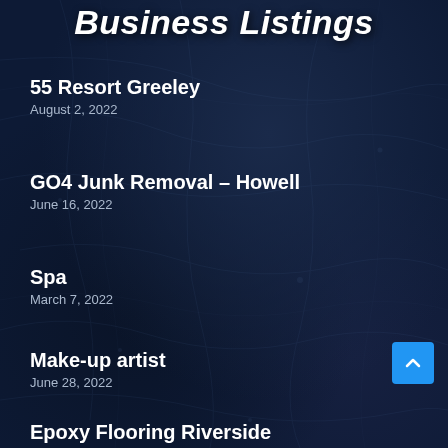Business Listings
55 Resort Greeley
August 2, 2022
GO4 Junk Removal – Howell
June 16, 2022
Spa
March 7, 2022
Make-up artist
June 28, 2022
Epoxy Flooring Riverside